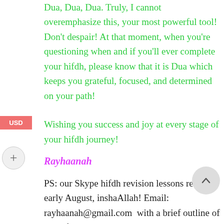Dua, Dua, Dua. Truly, I cannot overemphasize this, your most powerful tool! Don't despair! At that moment, when you're questioning when and if you'll ever complete your hifdh, please know that it is Dua which keeps you grateful, focused, and determined on your path!
Wishing you success and joy at every stage of your hifdh journey!
Rayhaanah
PS: our Skype hifdh revision lessons resume early August, inshaAllah! Email: rayhaanah@gmail.com  with a brief outline of the hifdh revision you require, your time